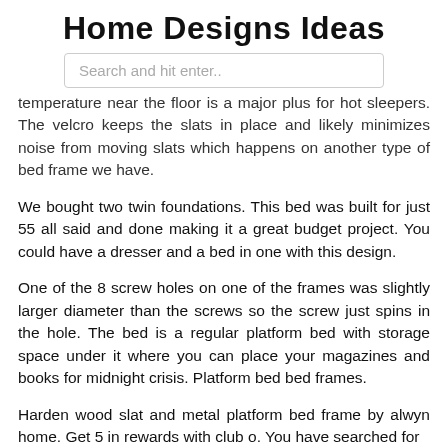Home Designs Ideas
Search and hit enter..
temperature near the floor is a major plus for hot sleepers. The velcro keeps the slats in place and likely minimizes noise from moving slats which happens on another type of bed frame we have.
We bought two twin foundations. This bed was built for just 55 all said and done making it a great budget project. You could have a dresser and a bed in one with this design.
One of the 8 screw holes on one of the frames was slightly larger diameter than the screws so the screw just spins in the hole. The bed is a regular platform bed with storage space under it where you can place your magazines and books for midnight crisis. Platform bed bed frames.
Harden wood slat and metal platform bed frame by alwyn home. Get 5 in rewards with club o. You have searched for platform bed frames and this page displays the closest product matches we have for platform bed frames to buy online.